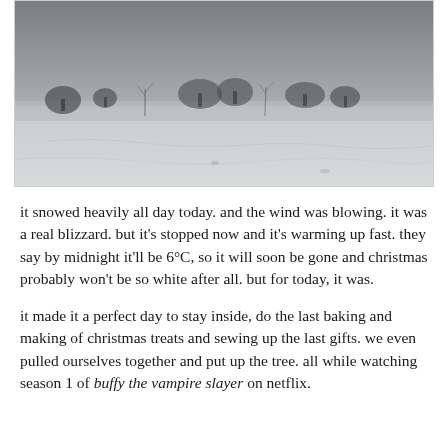[Figure (photo): A wide snowy winter landscape under a grey overcast sky. Bare leafless trees line the distant horizon. The foreground is a flat snow-covered field. The image is in muted grey tones.]
it snowed heavily all day today. and the wind was blowing. it was a real blizzard. but it's stopped now and it's warming up fast. they say by midnight it'll be 6°C, so it will soon be gone and christmas probably won't be so white after all. but for today, it was.
it made it a perfect day to stay inside, do the last baking and making of christmas treats and sewing up the last gifts. we even pulled ourselves together and put up the tree. all while watching season 1 of buffy the vampire slayer on netflix.